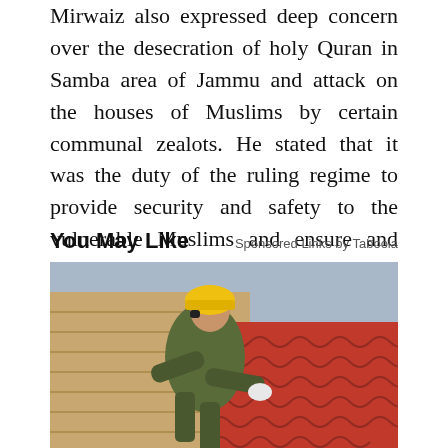Mirwaiz also expressed deep concern over the desecration of holy Quran in Samba area of Jammu and attack on the houses of Muslims by certain communal zealots. He stated that it was the duty of the ruling regime to provide security and safety to the vulnerable Muslims and ensure and that the criminals involved in these attacks are brought to book.
You May Like
Sponsored Links by Taboola
[Figure (photo): A construction worker wearing a yellow hard hat and camouflage clothing, kneeling on a roof and installing red metal roofing tiles.]